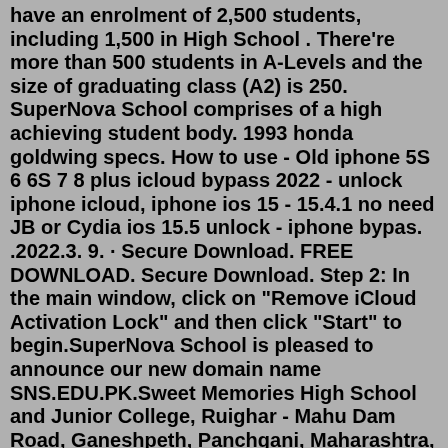have an enrolment of 2,500 students, including 1,500 in High School . There're more than 500 students in A-Levels and the size of graduating class (A2) is 250. SuperNova School comprises of a high achieving student body. 1993 honda goldwing specs. How to use - Old iphone 5S 6 6S 7 8 plus icloud bypass 2022 - unlock iphone icloud, iphone ios 15 - 15.4.1 no need JB or Cydia ios 15.5 unlock - iphone bypas. .2022.3. 9. · Secure Download. FREE DOWNLOAD. Secure Download. Step 2: In the main window, click on "Remove iCloud Activation Lock" and then click "Start" to begin.SuperNova School is pleased to announce our new domain name SNS.EDU.PK.Sweet Memories High School and Junior College, Ruighar - Mahu Dam Road, Ganeshpeth, Panchgani, Maharashtra, India Application Fees-10000 Admission Fees-10000 Annual Fees-65000 Other Fees-48500 Boarding Fees-200000 supernova school fee structure; mmtlp otc; gencon meaning; 4 bedroom mobile homes for rent; trator john deere grande; how to know if someone is busy on instagram video call;